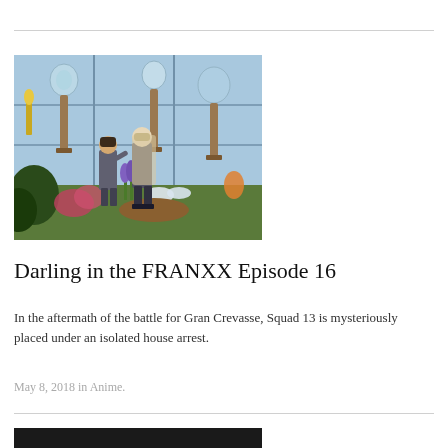[Figure (illustration): Anime screenshot from Darling in the FRANXX showing two characters standing in a greenhouse-like environment with colorful flowers and plants, and glass terrariums in the background.]
Darling in the FRANXX Episode 16
In the aftermath of the battle for Gran Crevasse, Squad 13 is mysteriously placed under an isolated house arrest.
May 8, 2018 in Anime.
[Figure (photo): Partially visible dark image at the bottom of the page, appears to be another anime screenshot.]